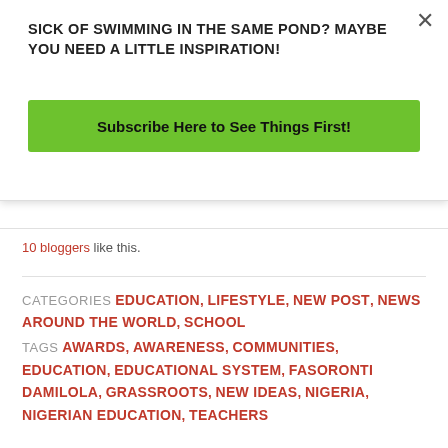SICK OF SWIMMING IN THE SAME POND? MAYBE YOU NEED A LITTLE INSPIRATION!
Subscribe Here to See Things First!
10 bloggers like this.
CATEGORIES EDUCATION, LIFESTYLE, NEW POST, NEWS AROUND THE WORLD, SCHOOL
TAGS AWARDS, AWARENESS, COMMUNITIES, EDUCATION, EDUCATIONAL SYSTEM, FASORONTI DAMILOLA, GRASSROOTS, NEW IDEAS, NIGERIA, NIGERIAN EDUCATION, TEACHERS